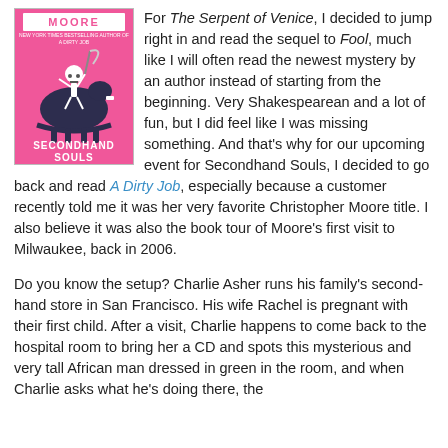[Figure (illustration): Book cover for 'Secondhand Souls' by Christopher Moore. Pink background with a skeleton figure riding a dark rocking horse, holding a scythe. Text at top reads 'MOORE' and subtitle 'A DIRTY JOB'. Bottom reads 'SECONDHAND SOULS'.]
For The Serpent of Venice, I decided to jump right in and read the sequel to Fool, much like I will often read the newest mystery by an author instead of starting from the beginning. Very Shakespearean and a lot of fun, but I did feel like I was missing something. And that's why for our upcoming event for Secondhand Souls, I decided to go back and read A Dirty Job, especially because a customer recently told me it was her very favorite Christopher Moore title. I also believe it was also the book tour of Moore's first visit to Milwaukee, back in 2006.
Do you know the setup? Charlie Asher runs his family's second-hand store in San Francisco. His wife Rachel is pregnant with their first child. After a visit, Charlie happens to come back to the hospital room to bring her a CD and spots this mysterious and very tall African man dressed in green in the room, and when Charlie asks what he's doing there, the